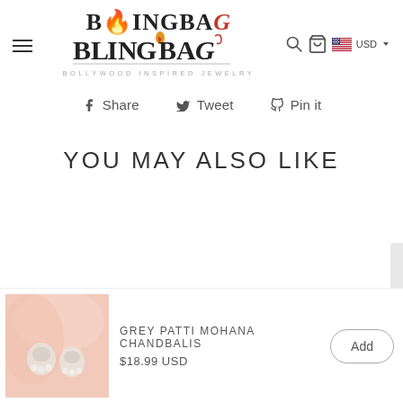BlingBag - Bollywood Inspired Jewelry
Share  Tweet  Pin it
YOU MAY ALSO LIKE
[Figure (photo): Product thumbnail showing grey patti mohana chandbalis earrings on pink background]
GREY PATTI MOHANA CHANDBALIS
$18.99 USD